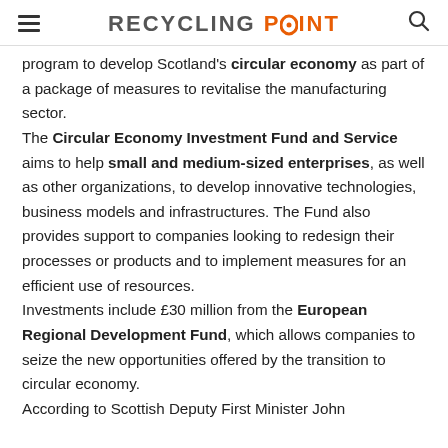RECYCLING POINT
program to develop Scotland's circular economy as part of a package of measures to revitalise the manufacturing sector.
The Circular Economy Investment Fund and Service aims to help small and medium-sized enterprises, as well as other organizations, to develop innovative technologies, business models and infrastructures. The Fund also provides support to companies looking to redesign their processes or products and to implement measures for an efficient use of resources.
Investments include £30 million from the European Regional Development Fund, which allows companies to seize the new opportunities offered by the transition to circular economy.
According to Scottish Deputy First Minister John